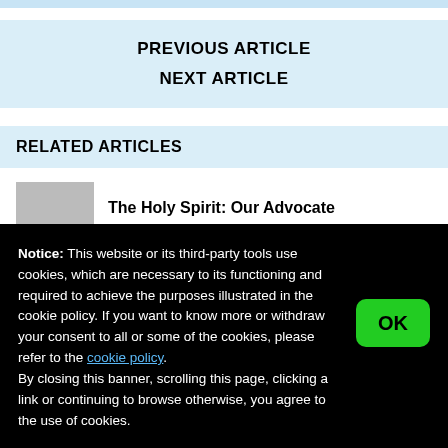PREVIOUS ARTICLE
NEXT ARTICLE
RELATED ARTICLES
The Holy Spirit: Our Advocate
Notice: This website or its third-party tools use cookies, which are necessary to its functioning and required to achieve the purposes illustrated in the cookie policy. If you want to know more or withdraw your consent to all or some of the cookies, please refer to the cookie policy.
By closing this banner, scrolling this page, clicking a link or continuing to browse otherwise, you agree to the use of cookies.